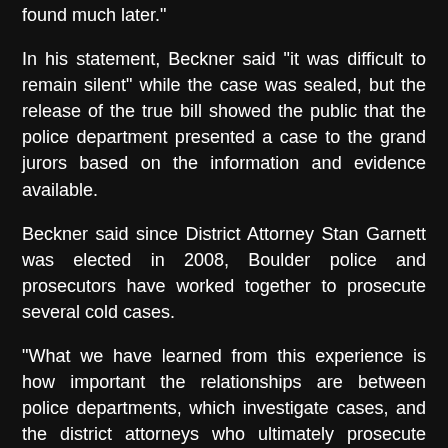found much later."
In his statement, Beckner said "it was difficult to remain silent" while the case was sealed, but the release of the true bill showed the public that the police department presented a case to the grand jurors based on the information and evidence available.
Beckner said since District Attorney Stan Garnett was elected in 2008, Boulder police and prosecutors have worked together to prosecute several cold cases.
"What we have learned from this experience is how important the relationships are between police departments, which investigate cases, and the district attorneys who ultimately prosecute cases," Beckner said. "Under District Attorney Stan Garnett, we've been able to develop a team approach -- with both agencies aiming for similar goals -- to achieve unprecedented success in prosecuting cold cases of which dd